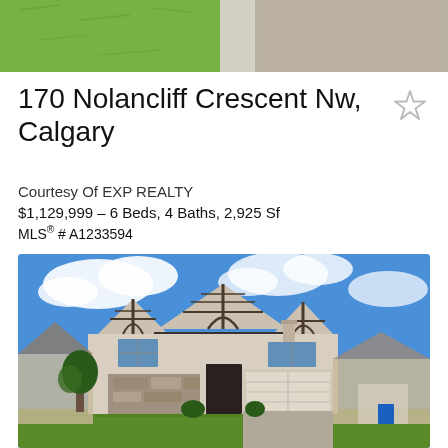[Figure (photo): Aerial/street-level photo showing green lawn and road/sidewalk]
170 Nolancliff Crescent Nw, Calgary
Courtesy Of EXP REALTY
$1,129,999 - 6 Beds, 4 Baths, 2,925 Sf
MLS® # A1233594
[Figure (photo): Exterior photo of a large two-storey house with Tudor-style architectural details, stone and stucco exterior, attached double garage, blue sky with clouds]